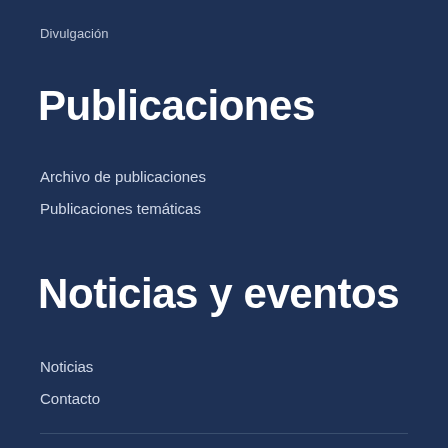Divulgación
Publicaciones
Archivo de publicaciones
Publicaciones temáticas
Noticias y eventos
Noticias
Contacto